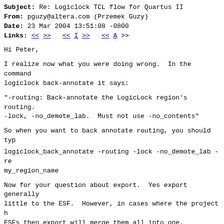Subject: Re: Logiclock TCL flow for Quartus II
From: pguzy@altera.com (Przemek Guzy)
Date: 23 Mar 2004 13:51:08 -0800
Links: << >> << I >> << A >>
Hi Peter,
I realize now what you were doing wrong.  In the command logiclock back-annotate it says:
"-routing: Back-annotate the LogicLock region's routing. -lock, -no_demote_lab.  Must not use -no_contents"
So when you want to back annotate routing, you should typ
logiclock_back_annotate -routing -lock -no_demote_lab -re my_region_name
Now for your question about export.  Yes export generally little to the ESF.  However, in cases where the project h ESFs then export will merge them all into one.  However, make significant changes to the RCF.  The exported RCF is from the back annotated RCF.  The back annotated one is s flow where you are trying to preserve routing within a pr the exported RCF is more suitable to an export/import flo differences are due to VQMs and routing to and from IO pi